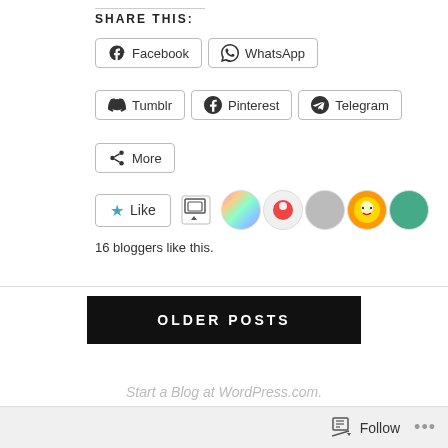SHARE THIS:
Facebook
WhatsApp
Tumblr
Pinterest
Telegram
More
16 bloggers like this.
OLDER POSTS
Start a Blog at WordPress.com.
Follow